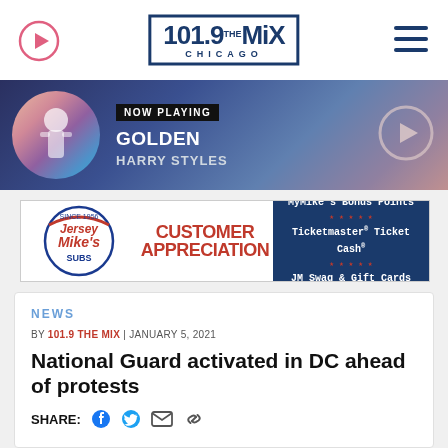101.9 THE MIX CHICAGO
[Figure (screenshot): Now playing bar showing album art for Harry Styles Golden, with NOW PLAYING label and play button]
[Figure (photo): Jersey Mike's Customer Appreciation advertisement with MyMike's Bonus Points, Ticketmaster Ticket Cash, JM Swag & Gift Cards]
NEWS
BY 101.9 THE MIX | JANUARY 5, 2021
National Guard activated in DC ahead of protests
SHARE: